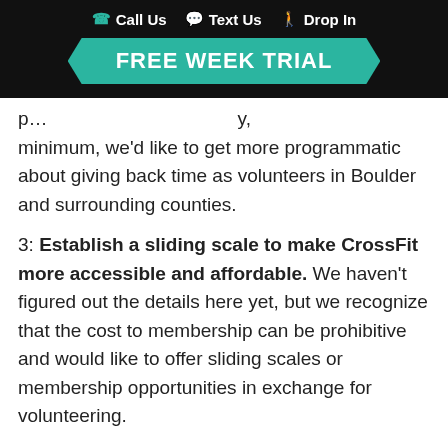Call Us   Text Us   Drop In
FREE WEEK TRIAL
p...g...y, minimum, we'd like to get more programmatic about giving back time as volunteers in Boulder and surrounding counties.
3: Establish a sliding scale to make CrossFit more accessible and affordable. We haven't figured out the details here yet, but we recognize that the cost to membership can be prohibitive and would like to offer sliding scales or membership opportunities in exchange for volunteering.